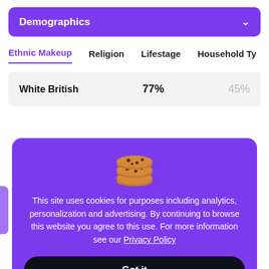Demographics
Ethnic Makeup  Religion  Lifestage  Household Ty
|  |  |  |
| --- | --- | --- |
| White British | 77% | 45% |
[Figure (screenshot): Cookie consent overlay with cookie emoji, text about site using cookies for analytics, personalization and advertising, and a 'Got it' button]
This site uses cookies for purposes including analytics, personalization and advertising. By continuing to browse this website you agree to this use. For more information see our Privacy Policy
Got it